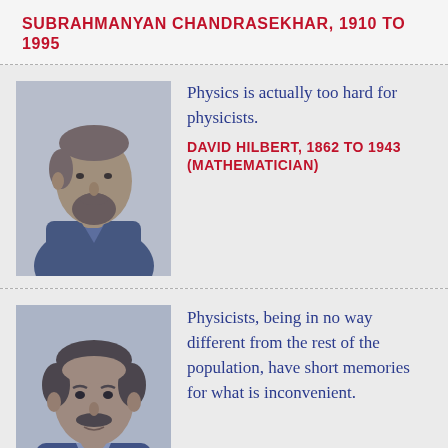SUBRAHMANYAN CHANDRASEKHAR, 1910 TO 1995
[Figure (illustration): Portrait illustration of a man in a dark jacket, side profile, with a beard — representing the physicist in a blue-tinted engraving style.]
Physics is actually too hard for physicists.
DAVID HILBERT, 1862 TO 1943 (MATHEMATICIAN)
[Figure (illustration): Portrait illustration of a man with a mustache in a blue-tinted engraving style, representing David Hilbert.]
Physicists, being in no way different from the rest of the population, have short memories for what is inconvenient.